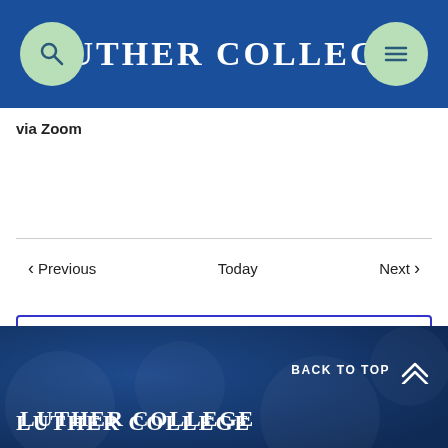Luther College
via Zoom
Previous  Today  Next
+ Export Events
BACK TO TOP  Luther College